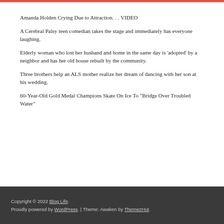Amanda Holden Crying Due to Attraction. . . VIDEO
A Cerebral Palsy teen comedian takes the stage and immediately has everyone laughing.
Elderly woman who lost her husband and home in the same day is ‘adopted’ by a neighbor and has her old house rebuilt by the community.
Three brothers help an ALS mother realize her dream of dancing with her son at his wedding.
60-Year-Old Gold Medal Champions Skate On Ice To “Bridge Over Troubled Water”
Copyright © 2022 Blog Life. Proudly powered by WordPress. | Theme: Awaken by ThemezHut.